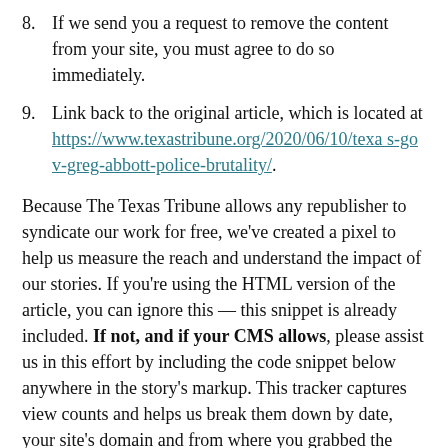8. If we send you a request to remove the content from your site, you must agree to do so immediately.
9. Link back to the original article, which is located at https://www.texastribune.org/2020/06/10/texas-gov-greg-abbott-police-brutality/.
Because The Texas Tribune allows any republisher to syndicate our work for free, we’ve created a pixel to help us measure the reach and understand the impact of our stories. If you’re using the HTML version of the article, you can ignore this — this snippet is already included. If not, and if your CMS allows, please assist us in this effort by including the code snippet below anywhere in the story’s markup. This tracker captures view counts and helps us break them down by date, your site’s domain and from where you grabbed the article (for